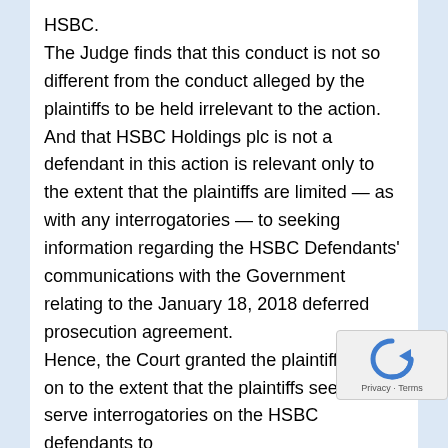HSBC. The Judge finds that this conduct is not so different from the conduct alleged by the plaintiffs to be held irrelevant to the action. And that HSBC Holdings plc is not a defendant in this action is relevant only to the extent that the plaintiffs are limited — as with any interrogatories — to seeking information regarding the HSBC Defendants' communications with the Government relating to the January 18, 2018 deferred prosecution agreement. Hence, the Court granted the plaintiffs' motion to the extent that the plaintiffs seek to serve interrogatories on the HSBC defendants to